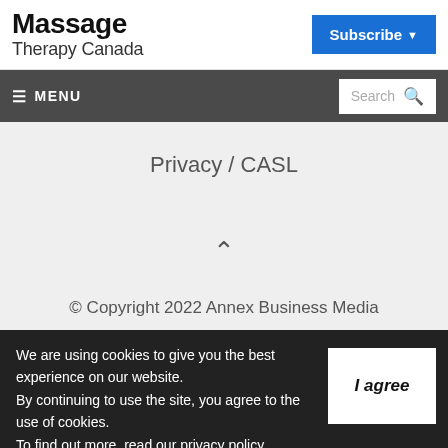Massage Therapy Canada
Subscribe ▾
≡ MENU   Search 🔍
Privacy / CASL
∧
© Copyright 2022 Annex Business Media
We are using cookies to give you the best experience on our website. By continuing to use the site, you agree to the use of cookies. To find out more, read our privacy policy.
I agree